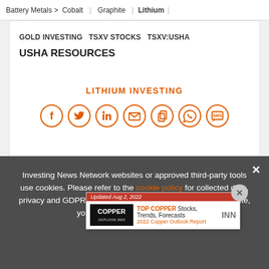Battery Metals > Cobalt | Graphite | Lithium |
GOLD INVESTING  TSXV STOCKS  TSXV:USHA
USHA RESOURCES
LITHIUM INVESTING
[Figure (infographic): Row of 7 orange social media sharing icons in circles: Facebook, Twitter, LinkedIn, Email, Copy, WhatsApp, SMS]
[Figure (screenshot): Ad popup: Updated Aug 2, 2022 | TOP COPPER Stocks, Trends, Forecasts | 2022 Copper Outlook Report | COPPER logo | INN logo]
Feat
Critical Resources  0.043  0.00 (0.00%)
Investing News Network websites or approved third-party tools use cookies. Please refer to the cookie policy for collected data, privacy and GDPR compliance. By continuing to browse the site, you agree to our use of cookies.